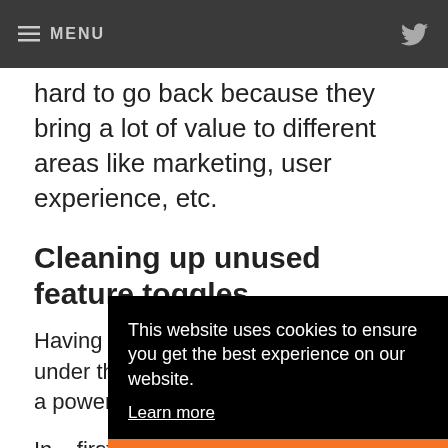≡ MENU
hard to go back because they bring a lot of value to different areas like marketing, user experience, etc.
Cleaning up unused feature toggles
Having multiple features in your code under the control of feature toggles is a powerful tool but ca... ma... fe...
In... first feature toggle into a Kill Switch, so we kept it
This website uses cookies to ensure you get the best experience on our website. Learn more
Got it!